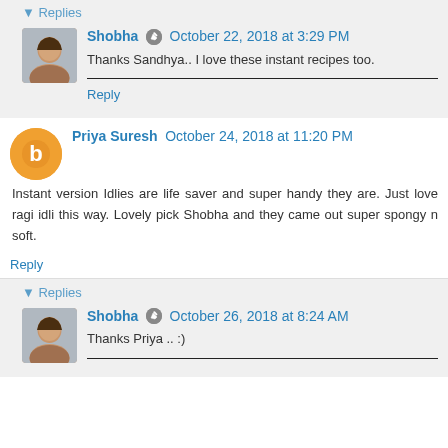▾ Replies
Shobha  October 22, 2018 at 3:29 PM
Thanks Sandhya.. I love these instant recipes too.
Reply
Priya Suresh  October 24, 2018 at 11:20 PM
Instant version Idlies are life saver and super handy they are. Just love ragi idli this way. Lovely pick Shobha and they came out super spongy n soft.
Reply
▾ Replies
Shobha  October 26, 2018 at 8:24 AM
Thanks Priya .. :)